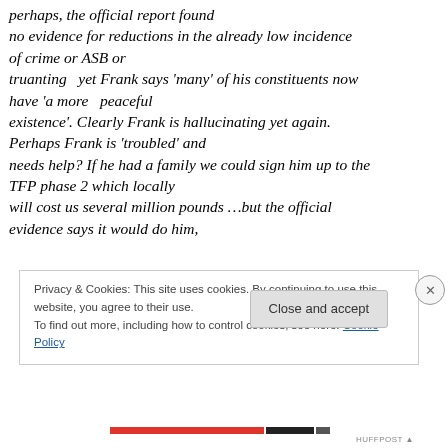perhaps, the official report found no evidence for reductions in the already low incidence of crime or ASB or truanting  yet Frank says 'many' of his constituents now have 'a more  peaceful existence'. Clearly Frank is hallucinating yet again. Perhaps Frank is 'troubled' and needs help? If he had a family we could sign him up to the TFP phase 2 which locally will cost us several million pounds …but the official evidence says it would do him,
Privacy & Cookies: This site uses cookies. By continuing to use this website, you agree to their use.
To find out more, including how to control cookies, see here: Cookie Policy
Close and accept